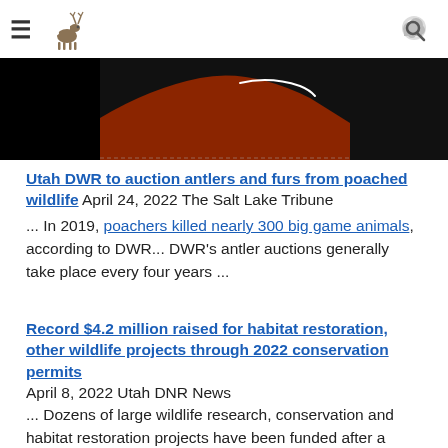Utah DWR website header with hamburger menu, deer logo, and search icon
[Figure (photo): Banner image with dark sections on left and right, and a dark red/brown hill or mesa shape in the center with a white curved line (possibly a bird or river) against the red background]
Utah DWR to auction antlers and furs from poached wildlife April 24, 2022 The Salt Lake Tribune ... In 2019, poachers killed nearly 300 big game animals, according to DWR... DWR's antler auctions generally take place every four years ...
Record $4.2 million raised for habitat restoration, other wildlife projects through 2022 conservation permits April 8, 2022 Utah DNR News ... Dozens of large wildlife research, conservation and habitat restoration projects have been funded after a record $4.2 million was committed to the projects by participating conservation groups during the annual